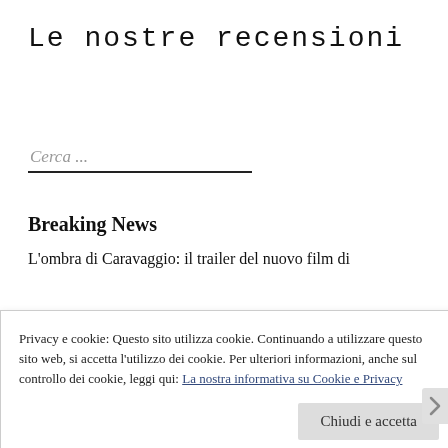Le nostre recensioni
Cerca ...
Breaking News
L'ombra di Caravaggio: il trailer del nuovo film di
Privacy e cookie: Questo sito utilizza cookie. Continuando a utilizzare questo sito web, si accetta l'utilizzo dei cookie. Per ulteriori informazioni, anche sul controllo dei cookie, leggi qui: La nostra informativa su Cookie e Privacy
Chiudi e accetta